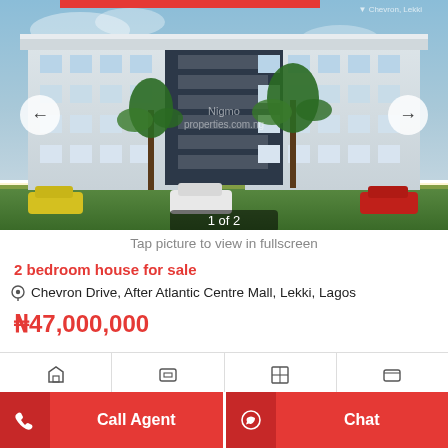[Figure (photo): Exterior rendering of a modern multi-storey apartment building with white and dark blue facade, palm trees, and cars parked in front. Navigation arrows on left and right. Image counter '1 of 2' at bottom.]
Tap picture to view in fullscreen
2 bedroom house for sale
Chevron Drive, After Atlantic Centre Mall, Lekki, Lagos
₦47,000,000
[Figure (infographic): Bottom icon bar with four property feature icons]
Call Agent | Chat